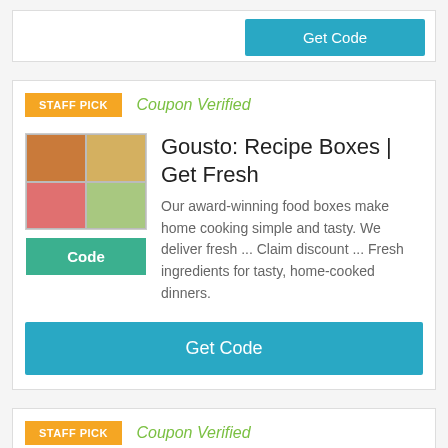[Figure (screenshot): Partial top card with Get Code button visible]
STAFF PICK
Coupon Verified
Gousto: Recipe Boxes | Get Fresh
[Figure (photo): Gousto food recipe box image grid with food photos]
Code
Our award-winning food boxes make home cooking simple and tasty. We deliver fresh ... Claim discount ... Fresh ingredients for tasty, home-cooked dinners.
Get Code
STAFF PICK
Coupon Verified